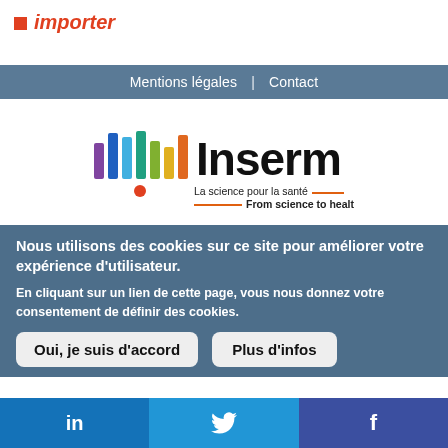importer
Mentions légales | Contact
[Figure (logo): Inserm logo with colorful bar chart icon and tagline: La science pour la santé / From science to health]
Nous utilisons des cookies sur ce site pour améliorer votre expérience d'utilisateur.
En cliquant sur un lien de cette page, vous nous donnez votre consentement de définir des cookies.
Oui, je suis d'accord
Plus d'infos
in | Twitter bird | f